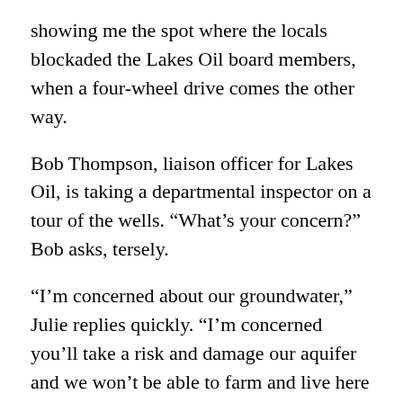showing me the spot where the locals blockaded the Lakes Oil board members, when a four-wheel drive comes the other way.
Bob Thompson, liaison officer for Lakes Oil, is taking a departmental inspector on a tour of the wells. “What’s your concern?” Bob asks, tersely.
“I’m concerned about our groundwater,” Julie replies quickly. “I’m concerned you’ll take a risk and damage our aquifer and we won’t be able to farm and live here anymore.”
“We don’t touch the aquifer,” Bob says. “There’s steel casing and concrete on the well.”
“But how long will that last?”